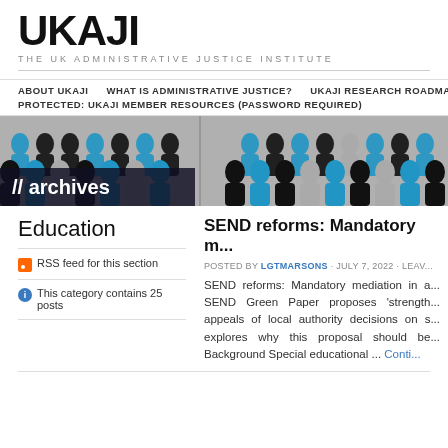UKAJI
THE UK ADMINISTRATIVE JUSTICE INSTITUTE
ABOUT UKAJI   WHAT IS ADMINISTRATIVE JUSTICE?   UKAJI RESEARCH ROADMAP   PROTECTED: UKAJI MEMBER RESOURCES (PASSWORD REQUIRED)
[Figure (illustration): Banner image showing silhouettes of people in black, blue, and grey crowd illustration with text '// archives' overlaid on dark background]
Education
RSS feed for this section
This category contains 25 posts
SEND reforms: Mandatory m...
POSTED BY LGTMARSONS · JULY 7, 2022 · LEAV...
SEND reforms: Mandatory mediation in a... SEND Green Paper proposes 'strength... appeals of local authority decisions on s... explores why this proposal should be... Background Special educational ... Conti...